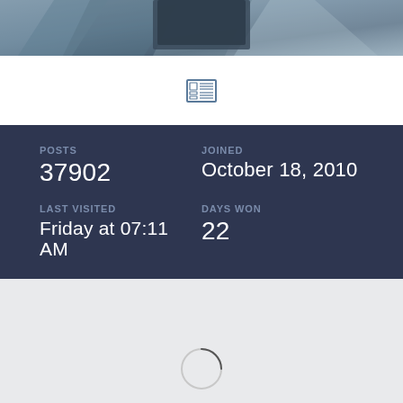[Figure (photo): Header banner image with abstract geometric polygon shapes in blue-grey tones, with a dark rectangular element at top center]
[Figure (screenshot): White profile bar with a newspaper/grid icon in the center]
POSTS
37902
LAST VISITED
Friday at 07:11 AM
JOINED
October 18, 2010
DAYS WON
22
[Figure (other): Loading spinner circle in the bottom content area]